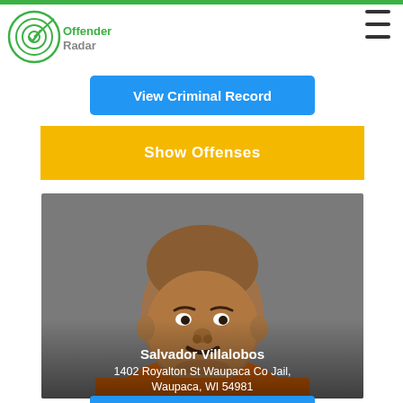[Figure (logo): OffenderRadar logo — circular radar/target icon in green next to text 'Offender' in green bold and 'Radar' in gray]
[Figure (photo): Mugshot of Salvador Villalobos, a middle-aged Hispanic male with a shaved head and mustache wearing an orange jail jumpsuit, photographed against a gray background. Text overlay reads: Salvador Villalobos / 1402 Royalton St Waupaca Co Jail, / Waupaca, WI 54981]
View Criminal Record
Show Offenses